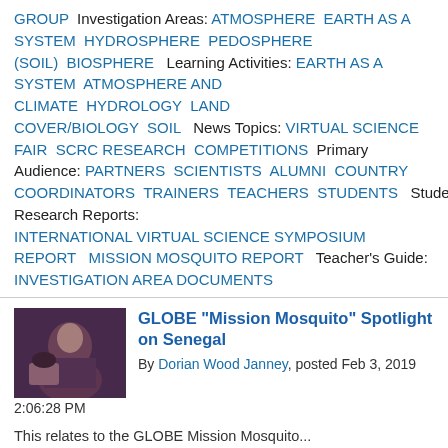GROUP Investigation Areas: ATMOSPHERE EARTH AS A SYSTEM HYDROSPHERE PEDOSPHERE (SOIL) BIOSPHERE Learning Activities: EARTH AS A SYSTEM ATMOSPHERE AND CLIMATE HYDROLOGY LAND COVER/BIOLOGY SOIL News Topics: VIRTUAL SCIENCE FAIR SCRC RESEARCH COMPETITIONS Primary Audience: PARTNERS SCIENTISTS ALUMNI COUNTRY COORDINATORS TRAINERS TEACHERS STUDENTS Student Research Reports: INTERNATIONAL VIRTUAL SCIENCE SYMPOSIUM REPORT MISSION MOSQUITO REPORT Teacher's Guide: INVESTIGATION AREA DOCUMENTS
[Figure (photo): Thumbnail image of a person at an event, dark purple/maroon background]
GLOBE "Mission Mosquito" Spotlight on Senegal
By Dorian Wood Janney, posted Feb 3, 2019 2:06:28 PM
This relates to the GLOBE Mission Mosquito...